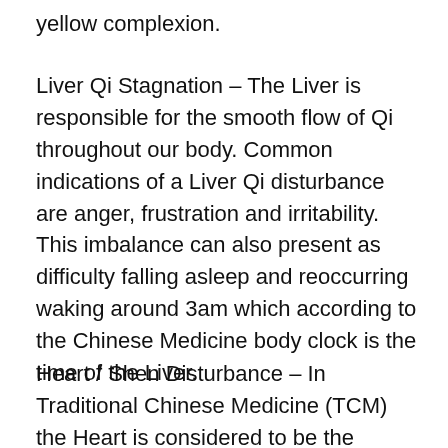yellow complexion.
Liver Qi Stagnation – The Liver is responsible for the smooth flow of Qi throughout our body. Common indications of a Liver Qi disturbance are anger, frustration and irritability. This imbalance can also present as difficulty falling asleep and reoccurring waking around 3am which according to the Chinese Medicine body clock is the time of the Liver.
Heart / Shen Disturbance – In Traditional Chinese Medicine (TCM) the Heart is considered to be the...